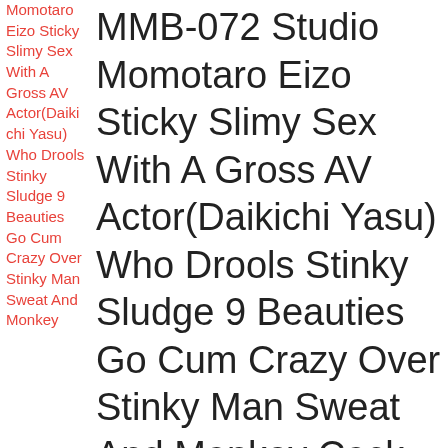MMB-072 Studio Momotaro Eizo Sticky Slimy Sex With A Gross AV Actor(Daikichi Yasu) Who Drools Stinky Sludge 9 Beauties Go Cum Crazy Over Stinky Man Sweat And Monkey Cock Fucking